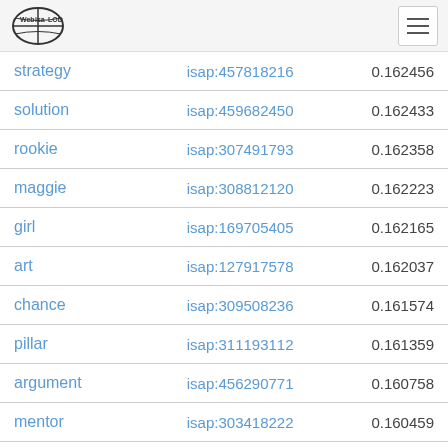Web isa LOD [logo]
| term | isap id | score |
| --- | --- | --- |
| strategy | isap:457818216 | 0.162456 |
| solution | isap:459682450 | 0.162433 |
| rookie | isap:307491793 | 0.162358 |
| maggie | isap:308812120 | 0.162223 |
| girl | isap:169705405 | 0.162165 |
| art | isap:127917578 | 0.162037 |
| chance | isap:309508236 | 0.161574 |
| pillar | isap:311193112 | 0.161359 |
| argument | isap:456290771 | 0.160758 |
| mentor | isap:303418222 | 0.160459 |
| good fit | isap:128211955 | 0.160393 |